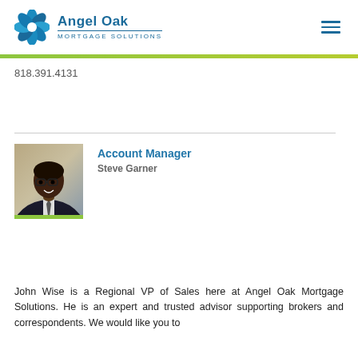Angel Oak MORTGAGE SOLUTIONS
818.391.4131
Account Manager
Steve Garner
[Figure (photo): Professional headshot of Steve Garner, Account Manager, wearing glasses and a dark suit, with a green stripe at the bottom of the photo.]
John Wise is a Regional VP of Sales here at Angel Oak Mortgage Solutions. He is an expert and trusted advisor supporting brokers and correspondents. We would like you to